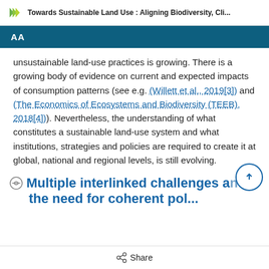Towards Sustainable Land Use : Aligning Biodiversity, Cli...
AA
unsustainable land-use practices is growing. There is a growing body of evidence on current and expected impacts of consumption patterns (see e.g. (Willett et al., 2019[3]) and (The Economics of Ecosystems and Biodiversity (TEEB), 2018[4])). Nevertheless, the understanding of what constitutes a sustainable land-use system and what institutions, strategies and policies are required to create it at global, national and regional levels, is still evolving.
Multiple interlinked challenges and
Share